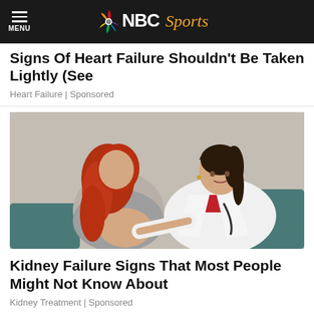MENU | NBC Sports
Signs Of Heart Failure Shouldn't Be Taken Lightly (See
Heart Failure | Sponsored
[Figure (photo): A female doctor in a white coat with a stethoscope examining a red-haired female patient's back in a clinical setting.]
Kidney Failure Signs That Most People Might Not Know About
Kidney Treatment | Sponsored